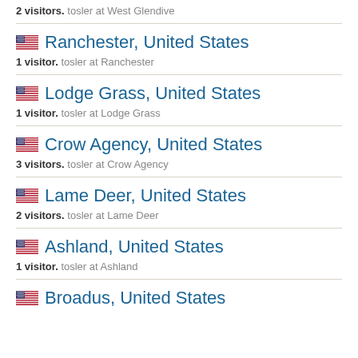2 visitors. tosler at West Glendive
Ranchester, United States
1 visitor. tosler at Ranchester
Lodge Grass, United States
1 visitor. tosler at Lodge Grass
Crow Agency, United States
3 visitors. tosler at Crow Agency
Lame Deer, United States
2 visitors. tosler at Lame Deer
Ashland, United States
1 visitor. tosler at Ashland
Broadus, United States